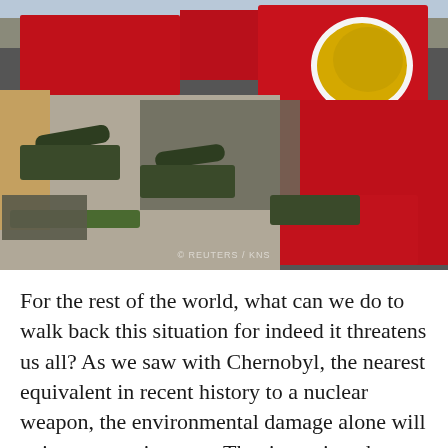[Figure (photo): Aerial view of a North Korean military parade in a large plaza, showing missile-carrying military trucks, formations of soldiers in grey uniforms, large crowds forming red patterns with flags, a yellow emblem (Workers' Party of Korea emblem) in red background at upper right, and buildings in the background.]
For the rest of the world, what can we do to walk back this situation for indeed it threatens us all? As we saw with Chernobyl, the nearest equivalent in recent history to a nuclear weapon, the environmental damage alone will poison a massive area. That is not just the Korean peninsula or adjacent Russian or Chinese areas; rather we must realize that fall-out will scatter into the Pacific